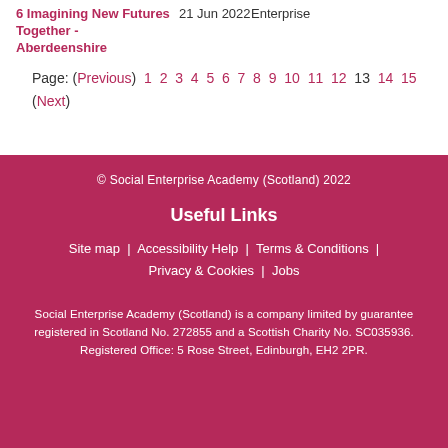6 Imagining New Futures Together - Aberdeenshire  21 Jun 2022  Enterprise
Page: (Previous) 1 2 3 4 5 6 7 8 9 10 11 12 13 14 15 (Next)
© Social Enterprise Academy (Scotland) 2022
Useful Links
Site map | Accessibility Help | Terms & Conditions | Privacy & Cookies | Jobs
Social Enterprise Academy (Scotland) is a company limited by guarantee registered in Scotland No. 272855 and a Scottish Charity No. SC035936. Registered Office: 5 Rose Street, Edinburgh, EH2 2PR.